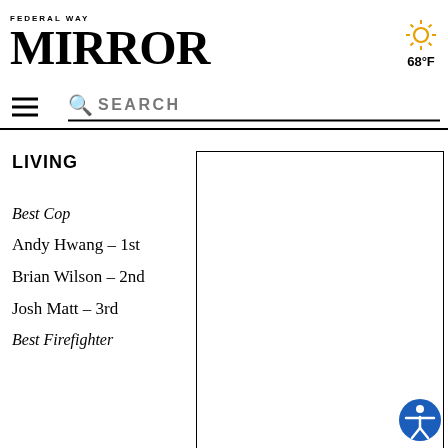Federal Way Mirror
68°F
SEARCH
LIVING
Best Cop
Andy Hwang – 1st
Brian Wilson – 2nd
Josh Matt – 3rd
Best Firefighter
[Figure (other): Empty advertisement box with black border]